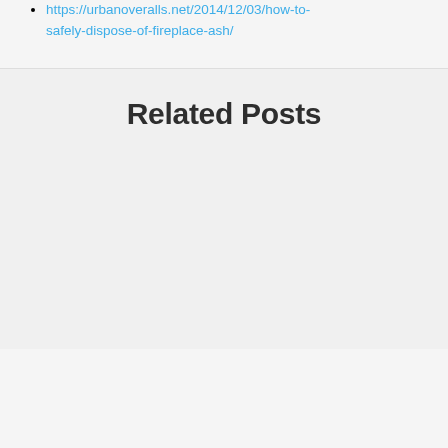https://urbanoveralls.net/2014/12/03/how-to-safely-dispose-of-fireplace-ash/
Related Posts